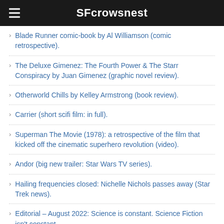SFcrowsnest
Blade Runner comic-book by Al Williamson (comic retrospective).
The Deluxe Gimenez: The Fourth Power & The Starr Conspiracy by Juan Gimenez (graphic novel review).
Otherworld Chills by Kelley Armstrong (book review).
Carrier (short scifi film: in full).
Superman The Movie (1978): a retrospective of the film that kicked off the cinematic superhero revolution (video).
Andor (big new trailer: Star Wars TV series).
Hailing frequencies closed: Nichelle Nichols passes away (Star Trek news).
Editorial – August 2022: Science is constant. Science Fiction isn't constant.
Indexes
Book Index
Film Index